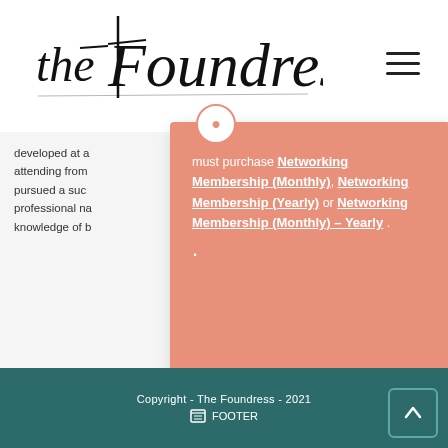[Figure (logo): The Foundress handwritten script logo in black ink]
developed at a... attending from... pursued a suc... professional na... knowledge of b...
must purchase Networking Membership (Monthly), Networking Membership (Yearly) or Networking Membership (Monthly) – Yearly .
Copyright - The Foundress - 2021  FOOTER